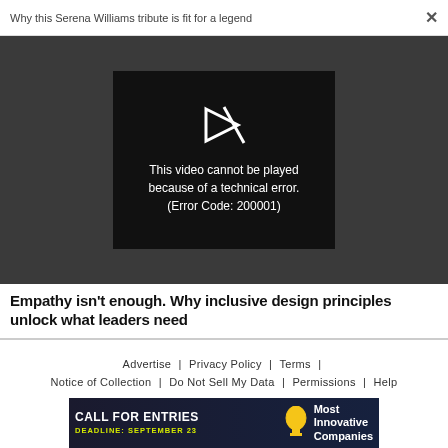Why this Serena Williams tribute is fit for a legend
[Figure (screenshot): Video player showing error message: 'This video cannot be played because of a technical error. (Error Code: 200001)' with a play icon on dark background.]
Empathy isn’t enough. Why inclusive design principles unlock what leaders need
Advertise | Privacy Policy | Terms | Notice of Collection | Do Not Sell My Data | Permissions | Help
[Figure (infographic): Advertisement banner: CALL FOR ENTRIES DEADLINE: SEPTEMBER 23 Most Innovative Companies]